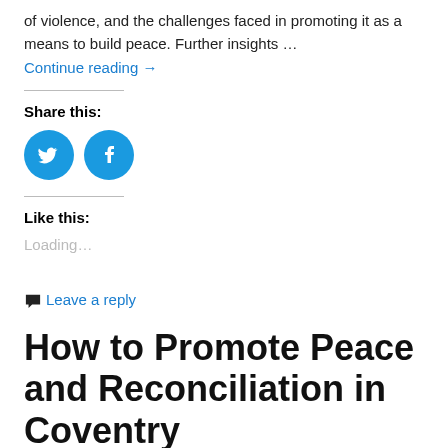of violence, and the challenges faced in promoting it as a means to build peace. Further insights …
Continue reading →
Share this:
[Figure (illustration): Two circular social media share buttons: Twitter (bird icon) and Facebook (f icon), both in blue]
Like this:
Loading…
Leave a reply
How to Promote Peace and Reconciliation in Coventry